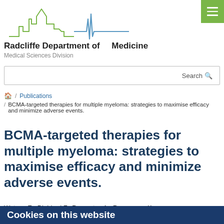[Figure (logo): Radcliffe Department of Medicine logo with skyline and ECG line graphic in green and blue]
Radcliffe Department of Medicine
Medical Sciences Division
Search
🏠 / Publications / BCMA-targeted therapies for multiple myeloma: strategies to maximise efficacy and minimize adverse events.
BCMA-targeted therapies for multiple myeloma: strategies to maximise efficacy and minimize adverse events.
Watson E., Djebbari F., Rampotas A., Ramasamy K.
Cookies on this website